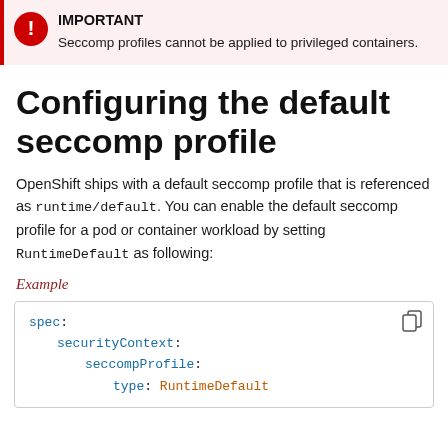IMPORTANT
Seccomp profiles cannot be applied to privileged containers.
Configuring the default seccomp profile
OpenShift ships with a default seccomp profile that is referenced as runtime/default. You can enable the default seccomp profile for a pod or container workload by setting RuntimeDefault as following:
Example
spec:
  securityContext:
    seccompProfile:
      type: RuntimeDefault